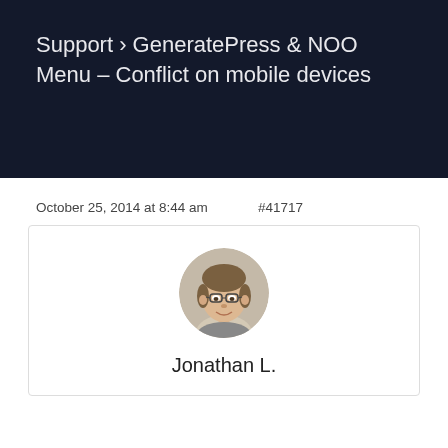Support › GeneratePress & NOO Menu – Conflict on mobile devices
October 25, 2014 at 8:44 am    #41717
[Figure (photo): Circular profile photo of a young man with glasses and short brown hair, smiling]
Jonathan L.